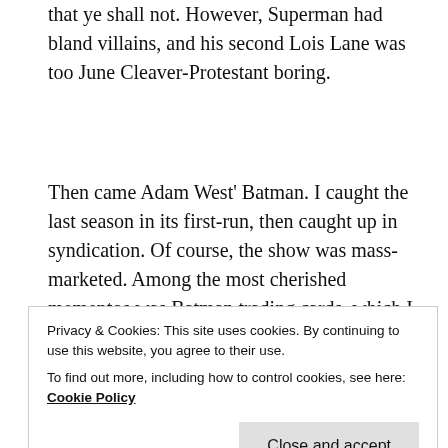that ye shall not. However, Superman had bland villains, and his second Lois Lane was too June Cleaver-Protestant boring.
Then came Adam West' Batman. I caught the last season in its first-run, then caught up in syndication. Of course, the show was mass-marketed. Among the most cherished mementos was Batman trading cards, which I would often lose. They meant so much to me that my poor Dad would have to drive all the way downtown to buy me replacement cards from the only store that carried
Privacy & Cookies: This site uses cookies. By continuing to use this website, you agree to their use.
To find out more, including how to control cookies, see here:
Cookie Policy
buy me a Batman suit AND a Batmobile to pedal